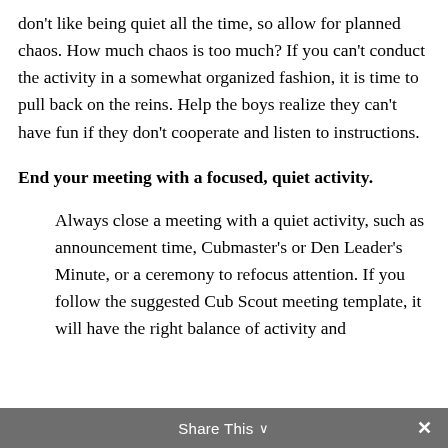don't like being quiet all the time, so allow for planned chaos. How much chaos is too much? If you can't conduct the activity in a somewhat organized fashion, it is time to pull back on the reins. Help the boys realize they can't have fun if they don't cooperate and listen to instructions.
End your meeting with a focused, quiet activity.
Always close a meeting with a quiet activity, such as announcement time, Cubmaster's or Den Leader's Minute, or a ceremony to refocus attention. If you follow the suggested Cub Scout meeting template, it will have the right balance of activity and
Share This ∨  ✕